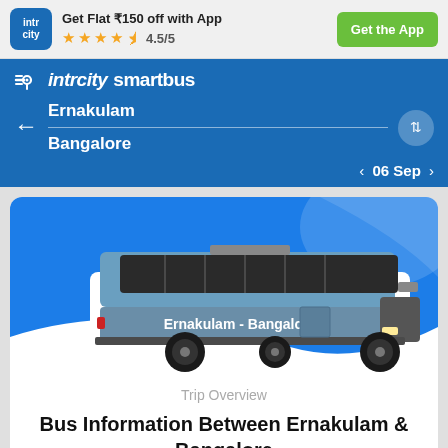Get Flat ₹150 off with App  ★★★★½ 4.5/5  Get the App
[Figure (screenshot): IntrCity SmartBus app navigation bar showing route from Ernakulam to Bangalore on 06 Sep]
[Figure (illustration): Illustrated bus with text Ernakulam - Bangalore on the side, blue background]
Trip Overview
Bus Information Between Ernakulam & Bangalore